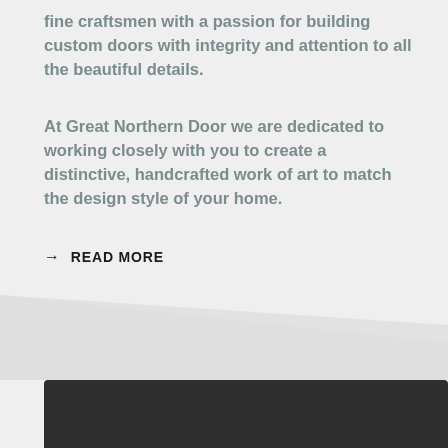fine craftsmen with a passion for building custom doors with integrity and attention to all the beautiful details.
At Great Northern Door we are dedicated to working closely with you to create a distinctive, handcrafted work of art to match the design style of your home.
→ READ MORE
[Figure (illustration): Diagonal wave/swoosh divider transitioning from light grey background above to a darker section below, with a dark charcoal rectangle at the bottom of the page.]